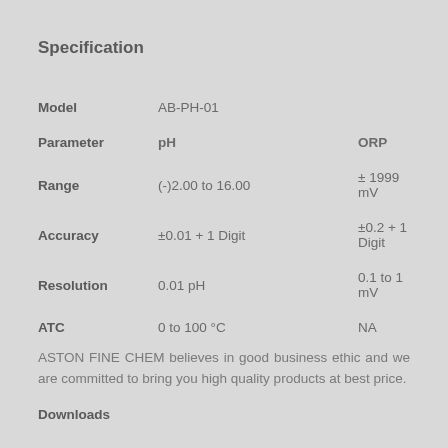Specification
|  | pH | ORP |
| --- | --- | --- |
| Model | AB-PH-01 |  |
| Parameter | pH | ORP |
| Range | (-)2.00 to 16.00 | ± 1999 mV |
| Accuracy | ±0.01 + 1 Digit | ±0.2 + 1 Digit |
| Resolution | 0.01 pH | 0.1 to 1 mV |
| ATC | 0 to 100 °C | NA |
ASTON FINE CHEM believes in good business ethic and we are committed to bring you high quality products at best price.
Downloads